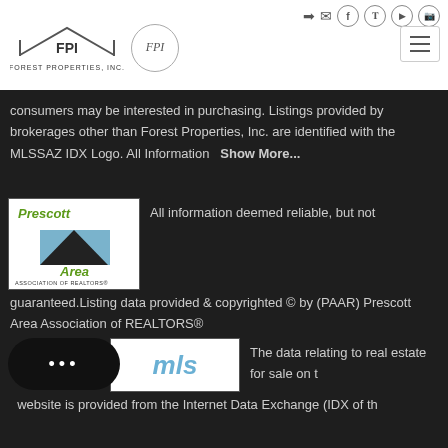[Figure (logo): Forest Properties Inc (FPI) logo with house roof graphic and text FOREST PROPERTIES, INC.]
[Figure (logo): FPI circular stamp/seal logo]
[Figure (logo): Hamburger/menu button icon]
[Figure (logo): Social media icons: login arrow, mail, Facebook, Twitter, YouTube, Instagram]
consumers may be interested in purchasing. Listings provided by brokerages other than Forest Properties, Inc. are identified with the MLSSAZ IDX Logo. All Information   Show More...
[Figure (logo): Prescott Area Association of Realtors logo]
All information deemed reliable, but not guaranteed.Listing data provided & copyrighted © by (PAAR) Prescott Area Association of REALTORS®
[Figure (logo): MLS logo with chat bubble overlay]
The data relating to real estate for sale on t...